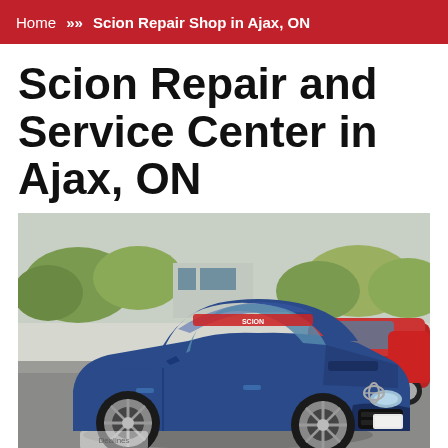Home >> Scion Repair Shop in Ajax, ON
Scion Repair and Service Center in Ajax, ON
[Figure (photo): A blue Scion FR-S / Toyota 86 sports car parked in a lot, front three-quarter view, with other cars visible in the background including a red car on the right. The car has white wheels and a windshield banner. A watermark appears in the lower-left corner.]